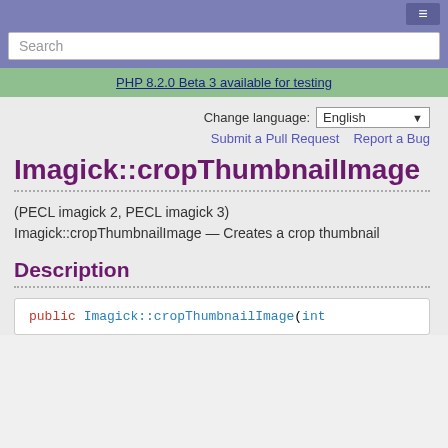Search
PHP 8.2.0 Beta 3 available for testing
Change language: English
Submit a Pull Request   Report a Bug
Imagick::cropThumbnailImage
(PECL imagick 2, PECL imagick 3)
Imagick::cropThumbnailImage — Creates a crop thumbnail
Description
public Imagick::cropThumbnailImage(int